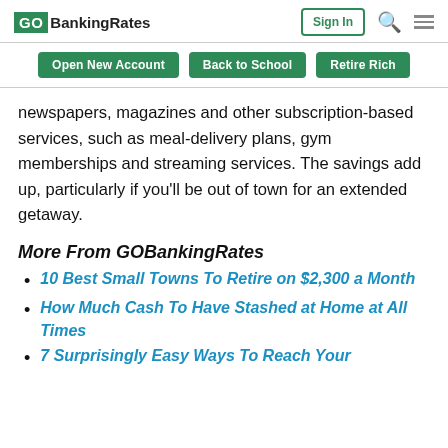GOBankingRates | Sign In
Open New Account | Back to School | Retire Rich
newspapers, magazines and other subscription-based services, such as meal-delivery plans, gym memberships and streaming services. The savings add up, particularly if you’ll be out of town for an extended getaway.
More From GOBankingRates
10 Best Small Towns To Retire on $2,300 a Month
How Much Cash To Have Stashed at Home at All Times
7 Surprisingly Easy Ways To Reach Your